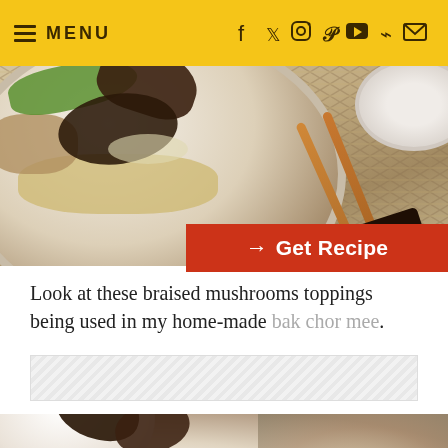MENU
[Figure (photo): A bowl of bak chor mee with braised mushrooms, green vegetables, noodles, and meat. Chopsticks visible in background on woven mat. Red 'Get Recipe' button overlay.]
Look at these braised mushrooms toppings being used in my home-made bak chor mee.
[Figure (other): Gray hatched advertisement placeholder box]
[Figure (photo): Close-up of braised mushrooms dish on white plate with green garnish, partly blurred background. NomNom logo in top right corner.]